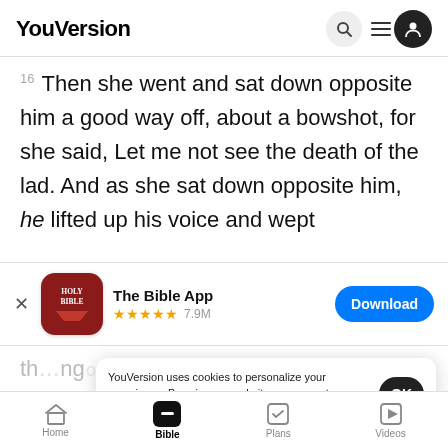YouVersion
16 Then she went and sat down opposite him a good way off, about a bowshot, for she said, Let me not see the death of the lad. And as she sat down opposite him, he lifted up his voice and wept
[Figure (screenshot): The Bible App download banner with app icon (Holy Bible), star rating 5 stars 7.9M reviews, and Download button]
th...ang...of God called to him out of the...
said to
for God has heard the voice of the youth where he
YouVersion uses cookies to personalize your experience. By using our website, you accept our use of cookies as described in our Privacy Policy.
Home  Bible  Plans  Videos